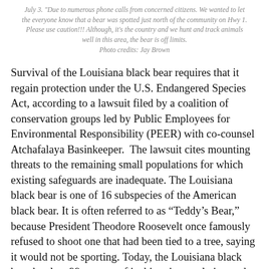July 3. "Due to numerous phone calls from concerned citizens. We wanted to let the everyone know that a bear was spotted just north of the community on Hwy 1. Please use caution!!! Although, it's the country and we hunt and track animals well in this area, the bear is off limits.
Photo credits: Jay Brown
Survival of the Louisiana black bear requires that it regain protection under the U.S. Endangered Species Act, according to a lawsuit filed by a coalition of conservation groups led by Public Employees for Environmental Responsibility (PEER) with co-counsel Atchafalaya Basinkeeper. The lawsuit cites mounting threats to the remaining small populations for which existing safeguards are inadequate. The Louisiana black bear is one of 16 subspecies of the American black bear. It is often referred to as “Teddy’s Bear,” because President Theodore Roosevelt once famously refused to shoot one that had been tied to a tree, saying it would not be sporting. Today, the Louisiana black bear has lost 99 percent of its historic population and more than 97 percent of its historic range. The bear was listed as threatened